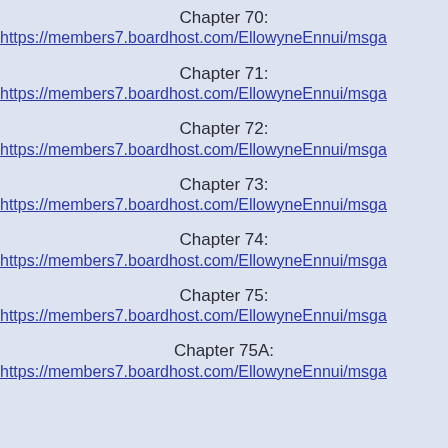Chapter 70:
https://members7.boardhost.com/EllowyneEnnui/msga
Chapter 71:
https://members7.boardhost.com/EllowyneEnnui/msga
Chapter 72:
https://members7.boardhost.com/EllowyneEnnui/msga
Chapter 73:
https://members7.boardhost.com/EllowyneEnnui/msga
Chapter 74:
https://members7.boardhost.com/EllowyneEnnui/msga
Chapter 75:
https://members7.boardhost.com/EllowyneEnnui/msga
Chapter 75A:
https://members7.boardhost.com/EllowyneEnnui/msga